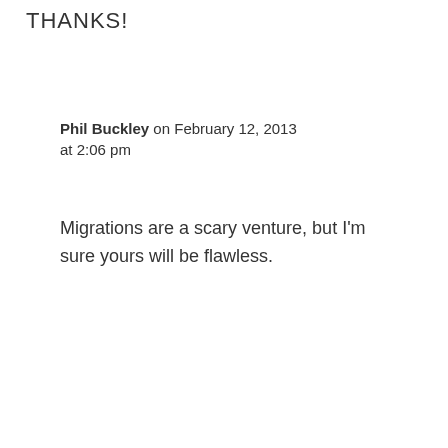THANKS!
Phil Buckley on February 12, 2013 at 2:06 pm
Migrations are a scary venture, but I'm sure yours will be flawless.
[Figure (photo): Avatar photo of Jeff SanG]
Jeff SanG at 2:51 pm
Awesome post Phil! It amazes me to see how many big companies move sites with no thought about the SEO implications. I'm planning
[Figure (screenshot): Chat popup with avatar and message: Got any questions? I'm happy to help. With close button and chat bubble button.]